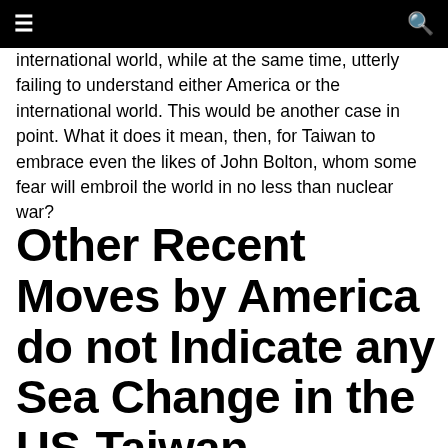≡  🔍
international world, while at the same time, utterly failing to understand either America or the international world. This would be another case in point. What it does it mean, then, for Taiwan to embrace even the likes of John Bolton, whom some fear will embroil the world in no less than nuclear war?
Other Recent Moves by America do not Indicate any Sea Change in the US-Taiwan Relation